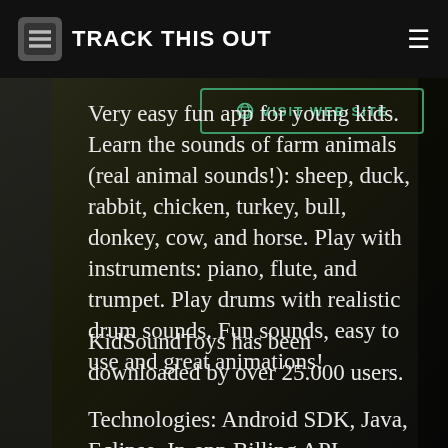TRACK THIS OUT
[Figure (screenshot): Website screenshot showing a 'VISIT WEB SITE' button with globe icon, on a dark background with musical instruments]
Very easy fun app for young kids. Learn the sounds of farm animals (real animal sounds!): sheep, duck, rabbit, chicken, turkey, bull, donkey, cow, and horse. Play with instruments: piano, flute, and trumpet. Play drums with realistic drum sounds. Fun sounds, easy to use and great animations!
KidSoundToys has been downloaded by over 25.000 users.
Technologies: Android SDK, Java, Eclipse, In-app Billing API.